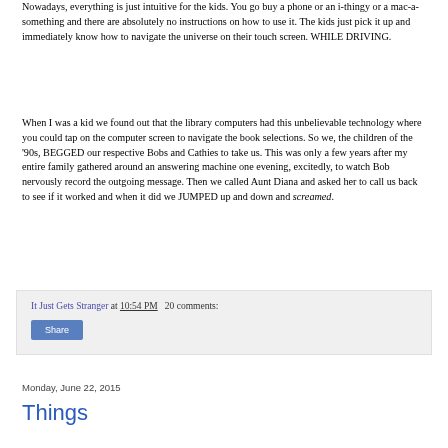Nowadays, everything is just intuitive for the kids. You go buy a phone or an i-thingy or a mac-a-something and there are absolutely no instructions on how to use it. The kids just pick it up and immediately know how to navigate the universe on their touch screen. WHILE DRIVING.
When I was a kid we found out that the library computers had this unbelievable technology where you could tap on the computer screen to navigate the book selections. So we, the children of the '90s, BEGGED our respective Bobs and Cathies to take us. This was only a few years after my entire family gathered around an answering machine one evening, excitedly, to watch Bob nervously record the outgoing message. Then we called Aunt Diana and asked her to call us back to see if it worked and when it did we JUMPED up and down and screamed.
It Just Gets Stranger at 10:54 PM   20 comments:
Share
Monday, June 22, 2015
Things